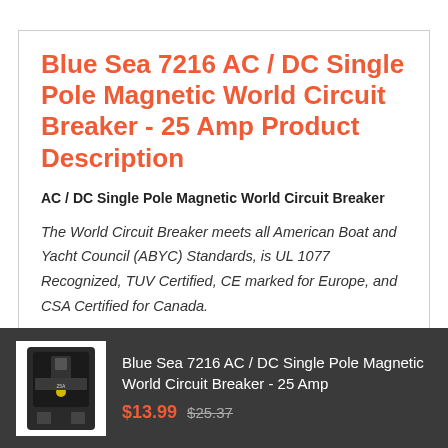Blue Sea 7216 AC / DC Single Pole Magnetic World Circuit Breaker - 25 Amp Product Description
AC / DC Single Pole Magnetic World Circuit Breaker
The World Circuit Breaker meets all American Boat and Yacht Council (ABYC) Standards, is UL 1077 Recognized, TUV Certified, CE marked for Europe, and CSA Certified for Canada.
[Figure (photo): Photo of Blue Sea 7216 circuit breaker — small black rectangular device with yellow indicator]
Blue Sea 7216 AC / DC Single Pole Magnetic World Circuit Breaker - 25 Amp $13.99 $25.37